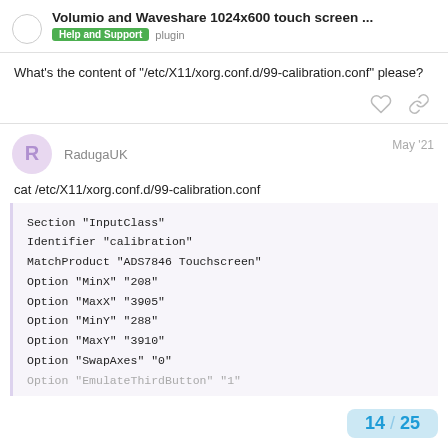Volumio and Waveshare 1024x600 touch screen ...
Help and Support  plugin
What's the content of "/etc/X11/xorg.conf.d/99-calibration.conf" please?
RadugaUK  May '21
cat /etc/X11/xorg.conf.d/99-calibration.conf
Section "InputClass"
Identifier "calibration"
MatchProduct "ADS7846 Touchscreen"
Option "MinX" "208"
Option "MaxX" "3905"
Option "MinY" "288"
Option "MaxY" "3910"
Option "SwapAxes" "0"
Option "EmulateThirdButton" "1"
14 / 25